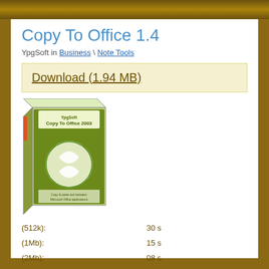Copy To Office 1.4
YpgSoft in Business \ Note Tools
Download (1.94 MB)
[Figure (photo): Box art of Copy To Office 2003 software with green globe icon]
| Speed | Time |
| --- | --- |
| (512k): | 30 s |
| (1Mb): | 15 s |
| (2Mb): | 08 s |
| (5Mb): | 03 s |
| (10Mb): | 02 s |
License: Shareware